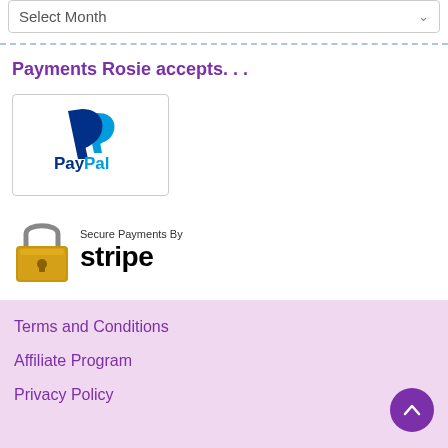Select Month
Payments Rosie accepts. . .
[Figure (logo): PayPal logo in a bordered box — blue P icon above dark blue 'Pay' and light blue 'Pal' text]
[Figure (logo): Secure Payments By Stripe logo — gold padlock icon with 'Secure Payments By' text and 'stripe' in large black bold font]
Terms and Conditions
Affiliate Program
Privacy Policy